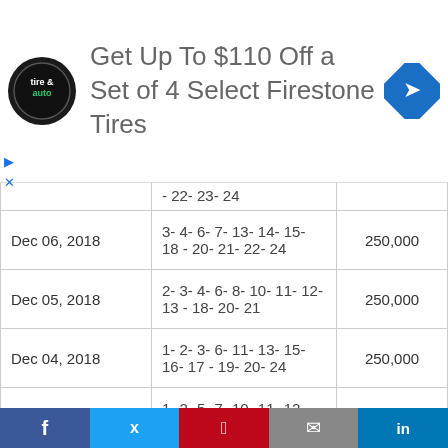[Figure (infographic): Advertisement banner: Firestone Tire & Auto logo, text 'Get Up To $110 Off a Set of 4 Select Firestone Tires', blue navigation arrow icon]
| Date | Numbers | Prize |
| --- | --- | --- |
|  | - 22- 23- 24 | ... |
| Dec 06, 2018 | 3- 4- 6- 7- 13- 14- 15- 18 - 20- 21- 22- 24 | 250,000 |
| Dec 05, 2018 | 2- 3- 4- 6- 8- 10- 11- 12- 13 - 18- 20- 21 | 250,000 |
| Dec 04, 2018 | 1- 2- 3- 6- 11- 13- 15- 16- 17 - 19- 20- 24 | 250,000 |
| Dec 03, 2018 | 1- 2- 5- 7- 10- 11- 12- 14- 18 - 19- 20- 21 | 250,000 |
[Figure (infographic): Social media share bar with Facebook, Twitter, Pinterest, Email, LinkedIn buttons]